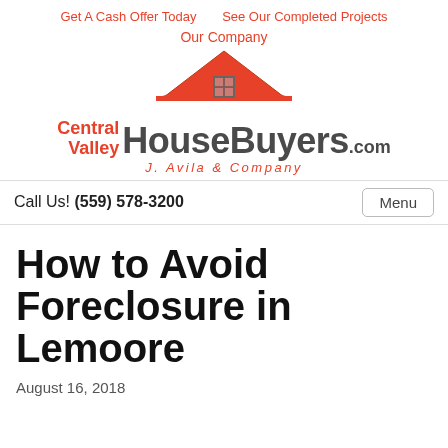Get A Cash Offer Today   See Our Completed Projects
Our Company
[Figure (logo): Central Valley HouseBuyers.com logo with orange house roof icon above the text. Text reads: Central Valley HouseBuyers.com J. Avila & Company]
Call Us! (559) 578-3200   Menu
How to Avoid Foreclosure in Lemoore
August 16, 2018